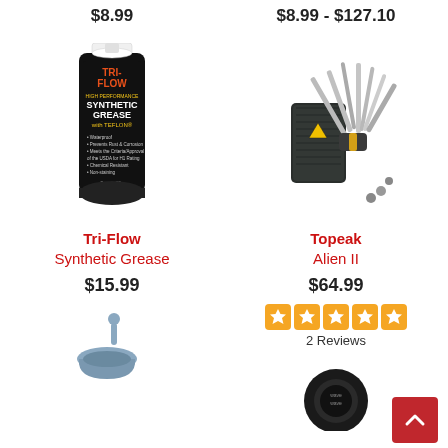$8.99
$8.99 - $127.10
[Figure (photo): Tube of Tri-Flow High Performance Synthetic Grease with Teflon, black tube with orange and yellow label]
Tri-Flow
Synthetic Grease
$15.99
[Figure (photo): Topeak Alien II multi-tool with black nylon case and multiple Allen keys, screwdrivers, and wrenches fanned out]
Topeak
Alien II
$64.99
[Figure (other): Five orange star rating icons]
2 Reviews
[Figure (photo): Blue mortar and pestle, partially visible at bottom of page]
[Figure (photo): Black circular bike component, partially visible at bottom right]
Scroll to top button with upward chevron